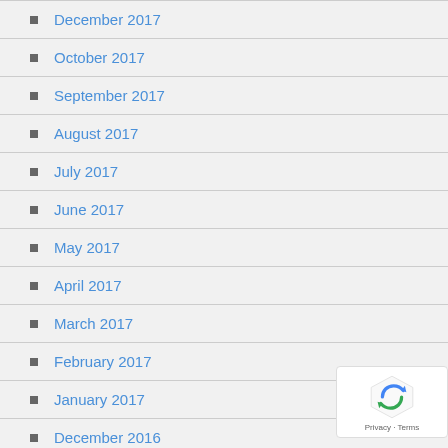December 2017
October 2017
September 2017
August 2017
July 2017
June 2017
May 2017
April 2017
March 2017
February 2017
January 2017
December 2016